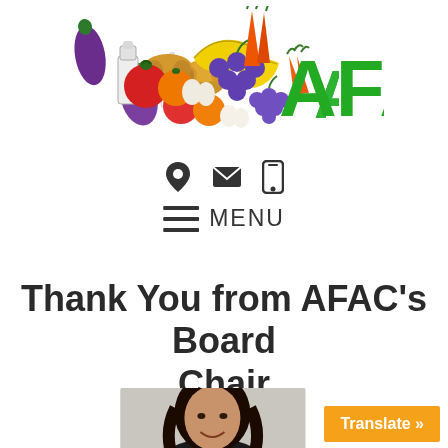[Figure (logo): AFAC logo with colorful food items (eggplant, milk jug, bread, tomato, orange, banana, grapes, carrots) and green AFAC text]
[Figure (infographic): Three small icons: location pin, envelope/email, and mobile phone]
≡  MENU
Thank You from AFAC's Board Chair
[Figure (photo): Photo of a smiling woman with long dark hair, partial view]
Translate »